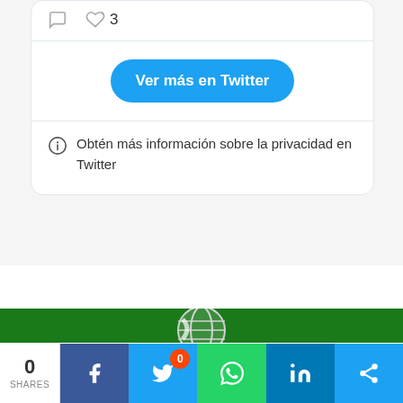[Figure (screenshot): Twitter embed card showing interaction icons (comment and heart with count 3), a blue 'Ver más en Twitter' button, and a privacy info line in Spanish: 'Obtén más información sobre la privacidad en Twitter']
Obtén más información sobre la privacidad en Twitter
[Figure (logo): Green background with partial globe/striped logo at bottom center]
0
SHARES
[Figure (infographic): Social share bar with count 0 SHARES and buttons for Facebook, Twitter, WhatsApp, LinkedIn, and generic share. Orange badge showing 0 on Twitter button.]